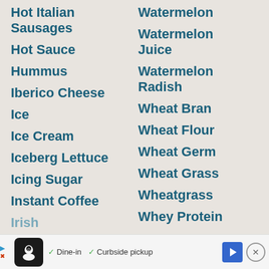Hot Italian Sausages
Hot Sauce
Hummus
Iberico Cheese
Ice
Ice Cream
Iceberg Lettuce
Icing Sugar
Instant Coffee
Irish
Italia
Watermelon
Watermelon Juice
Watermelon Radish
Wheat Bran
Wheat Flour
Wheat Germ
Wheat Grass
Wheatgrass
Whey Protein
[Figure (other): Advertisement banner with restaurant logo, Dine-in and Curbside pickup checkmarks, navigation arrow icon, and close button]